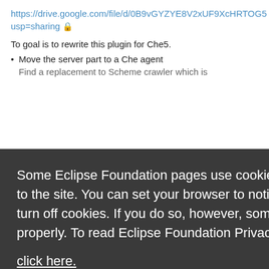https://drive.google.com/file/d/0B9vGYZYE8V2xUF9XcHRTOG5 usp=sharing 🔒
To goal is to rewrite this plugin for Che5.
Move the server part to a Che agent
Find a replacement to Scheme crawler which is...
Some Eclipse Foundation pages use cookies to better serve you when you return to the site. You can set your browser to notify you before you receive a cookie or turn off cookies. If you do so, however, some areas of some sites may not function properly. To read Eclipse Foundation Privacy Policy click here.
Decline
Allow cookies
workspace server and client API.